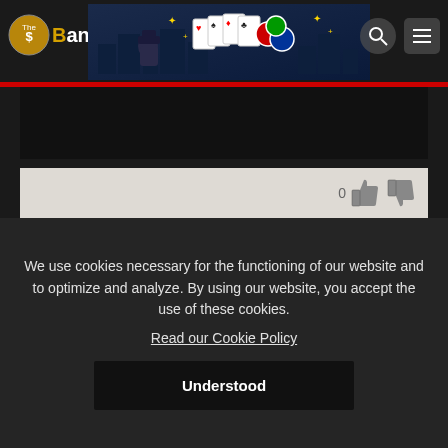[Figure (screenshot): TheBankrollMob website header with logo, poker-themed banner, search icon, and menu icon]
0 [thumbs up] [thumbs down]
palfco • Posted 20-Aug-09, 22:40 #11
in the uk we have only seen sammy "any two" george on 1 tv show ("the poker den" 😊
he went 50k up quickly but ended up losing 80k to rw111, roland "the rat" de woolfe, ian "the raiser" fraiser, neil "bad beat" channing,and possibly the worst player phil lakke!
so durr will kill him eventually
We use cookies necessary for the functioning of our website and to optimize and analyze. By using our website, you accept the use of these cookies.
Read our Cookie Policy
Understood